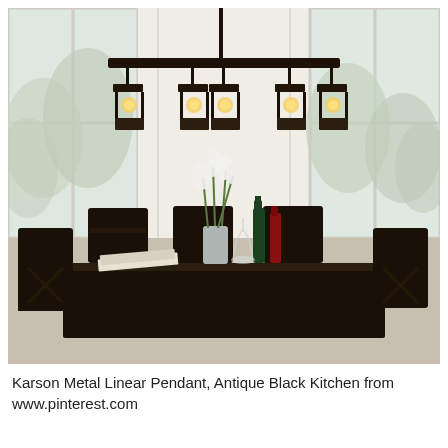[Figure (photo): Interior dining room photo showing a Karson Metal Linear Pendant light fixture in antique black with five cage-style pendant shades hanging over a dark wooden dining table with matching dark chairs. White flowers in a vase sit on the table along with wine bottles and glasses. Large windows with natural light in the background showing trees outside.]
Karson Metal Linear Pendant, Antique Black Kitchen from www.pinterest.com